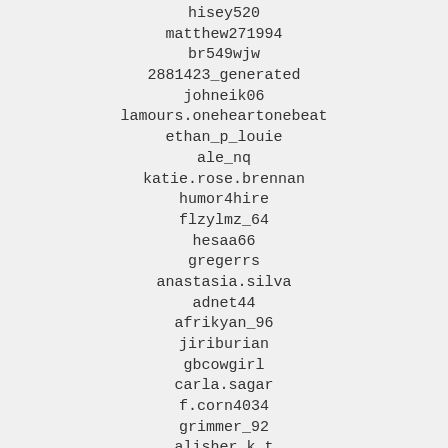hisey520
matthew271994
br549wjw
2881423_generated
johneik06
lamours.oneheartonebeat
ethan_p_louie
ale_nq
katie.rose.brennan
humor4hire
flzylmz_64
hesaa66
gregerrs
anastasia.silva
adnet44
afrikyan_96
jiriburian
gbcowgirl
carla.sagar
f.corn4034
grimmer_92
alisher_k_t
kot_alex97
lilangel_66046